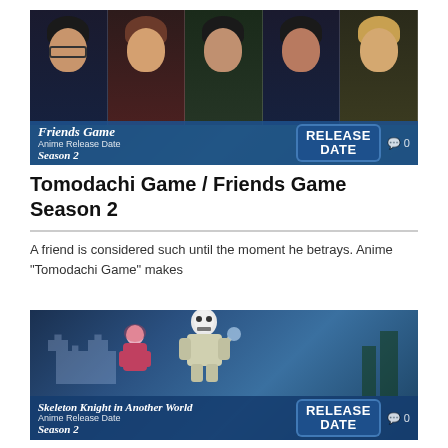[Figure (illustration): Anime thumbnail for 'Friends Game / Tomodachi Game Season 2' showing five anime characters side by side with a blue banner overlay reading 'Friends Game Anime Release Date Season 2' and 'RELEASE DATE' badge with comment icon showing 0]
Tomodachi Game / Friends Game Season 2
A friend is considered such until the moment he betrays. Anime “Tomodachi Game” makes
[Figure (illustration): Anime thumbnail for 'Skeleton Knight in Another World Season 2' showing a skeleton knight character in armor with a female companion, castle in background, blue banner overlay reading 'Skeleton Knight in Another World Anime Release Date Season 2' and 'RELEASE DATE' badge with comment icon showing 0]